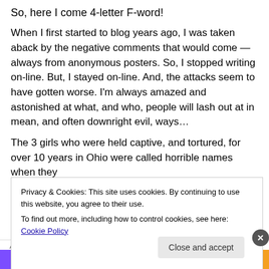So, here I come 4-letter F-word!
When I first started to blog years ago, I was taken aback by the negative comments that would come — always from anonymous posters. So, I stopped writing on-line. But, I stayed on-line. And, the attacks seem to have gotten worse. I'm always amazed and astonished at what, and who, people will lash out at in mean, and often downright evil, ways…
The 3 girls who were held captive, and tortured, for over 10 years in Ohio were called horrible names when they
Privacy & Cookies: This site uses cookies. By continuing to use this website, you agree to their use.
To find out more, including how to control cookies, see here: Cookie Policy
Close and accept
Advertisements